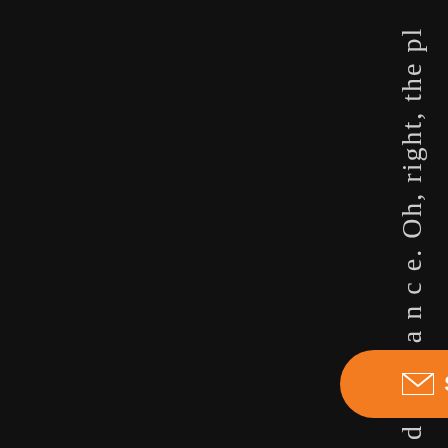d a c h a n c e. Oh, right, the pl
[Figure (other): Orange rounded rectangle Subscribe button with envelope icon and white text 'Subscribe!']